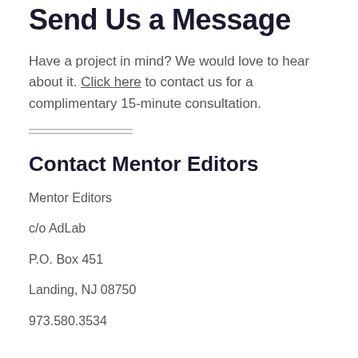Send Us a Message
Have a project in mind? We would love to hear about it. Click here to contact us for a complimentary 15-minute consultation.
Contact Mentor Editors
Mentor Editors
c/o AdLab
P.O. Box 451
Landing, NJ 08750
973.580.3534